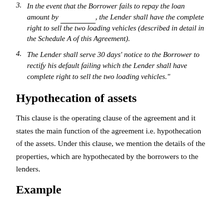In the event that the Borrower fails to repay the loan amount by ___________, the Lender shall have the complete right to sell the two loading vehicles (described in detail in the Schedule A of this Agreement).
The Lender shall serve 30 days' notice to the Borrower to rectify his default failing which the Lender shall have complete right to sell the two loading vehicles."
Hypothecation of assets
This clause is the operating clause of the agreement and it states the main function of the agreement i.e. hypothecation of the assets. Under this clause, we mention the details of the properties, which are hypothecated by the borrowers to the lenders.
Example